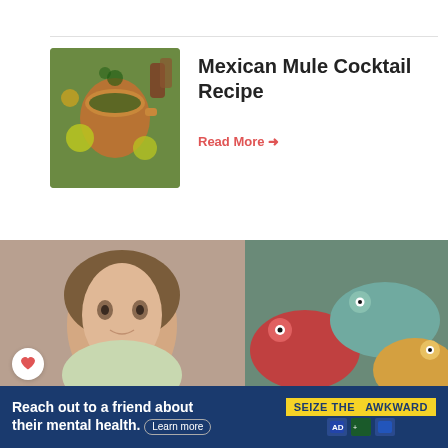[Figure (photo): Copper mule mug with lime and mint on tropical leaves background]
Mexican Mule Cocktail Recipe
Read More →
[Figure (photo): Close-up portrait of a young boy with brown hair]
[Figure (photo): Group of colorful fish heads close-up]
WHAT'S NEXT → Raspberry Mojito...
The Truth About Donald Trump's Son Is Out Now &
12 Cheap Fish You Should Absolutely Never Eat
Reach out to a friend about their mental health. Learn more
SEIZE THE AWKWARD